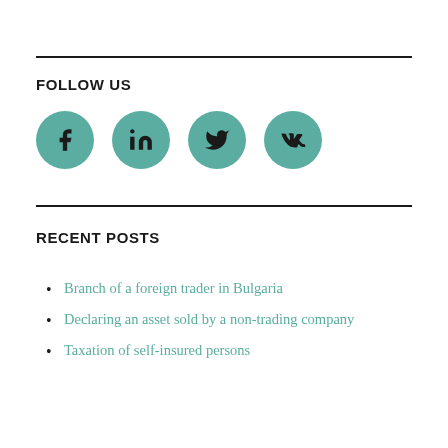FOLLOW US
[Figure (illustration): Four teal circular social media icons: Facebook, LinkedIn, Twitter, VK]
RECENT POSTS
Branch of a foreign trader in Bulgaria
Declaring an asset sold by a non-trading company
Taxation of self-insured persons